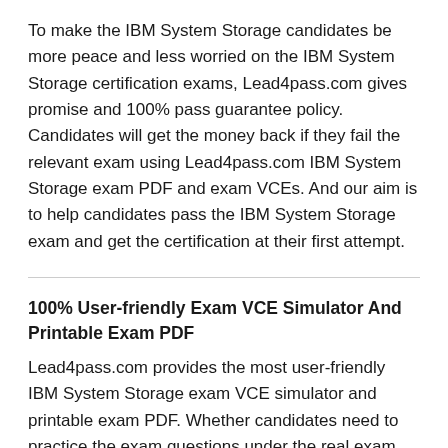To make the IBM System Storage candidates be more peace and less worried on the IBM System Storage certification exams, Lead4pass.com gives promise and 100% pass guarantee policy. Candidates will get the money back if they fail the relevant exam using Lead4pass.com IBM System Storage exam PDF and exam VCEs. And our aim is to help candidates pass the IBM System Storage exam and get the certification at their first attempt.
100% User-friendly Exam VCE Simulator And Printable Exam PDF
Lead4pass.com provides the most user-friendly IBM System Storage exam VCE simulator and printable exam PDF. Whether candidates need to practice the exam questions under the real exam environment or take the exam dump along with themselves to everywhere, Lead4pass.com will fulfill the tasks. Lead4pass.com IBM System Storage exam PDF is easy to be print out and very